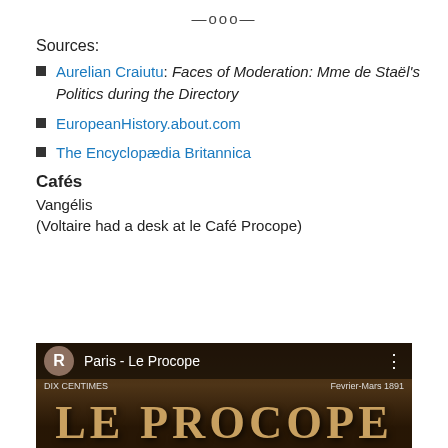—ooo—
Sources:
Aurelian Craiutu: Faces of Moderation: Mme de Staël's Politics during the Directory
EuropeanHistory.about.com
The Encyclopædia Britannica
Cafés
Vangélis
(Voltaire had a desk at le Café Procope)
[Figure (screenshot): Video thumbnail for 'Paris - Le Procope' showing a vintage newspaper or poster with 'LE PROCOPE' in large serif letters, with a circular R icon and video bar overlay.]